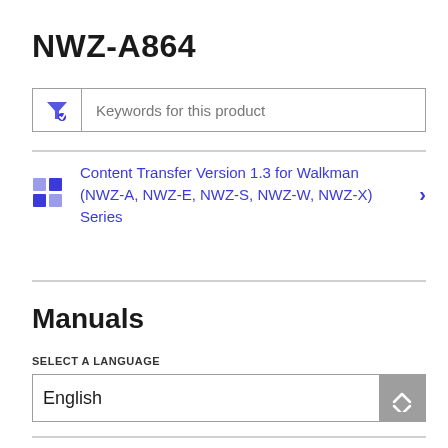NWZ-A864
[Figure (screenshot): Search/filter input box with a blue funnel/filter icon on the left and placeholder text 'Keywords for this product']
Content Transfer Version 1.3 for Walkman (NWZ-A, NWZ-E, NWZ-S, NWZ-W, NWZ-X) Series
Manuals
SELECT A LANGUAGE
English